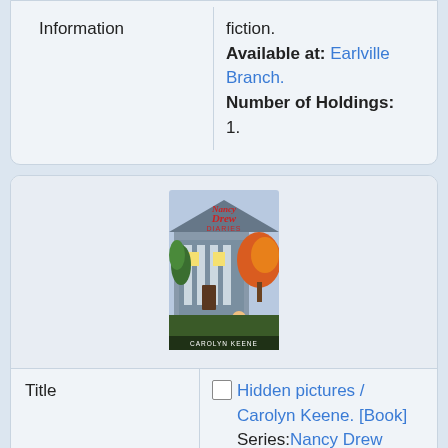|  |  |
| --- | --- |
| Information | fiction.
Available at: Earlville Branch.
Number of Holdings: 1. |
[Figure (illustration): Book cover of Nancy Drew Diaries showing a mansion with autumn trees and a girl crouching, by Carolyn Keene]
|  |  |
| --- | --- |
| Title | Hidden pictures / Carolyn Keene. [Book] Series:Nancy Drew diaries ;Volume:19 |
| Author | Keene, Carolyn |